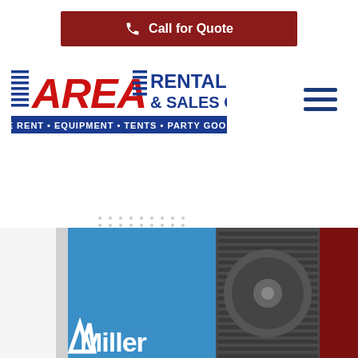[Figure (other): Call for Quote button with phone icon, dark red background, white text]
[Figure (logo): Area Rental & Sales Co. logo with red AREA text and blue stripes, tagline: WE RENT • EQUIPMENT • TENTS • PARTY GOODS]
[Figure (other): Hamburger menu icon (three horizontal dark blue lines)]
[Figure (other): Dot grid decorative element]
[Figure (photo): Photo of a blue Miller welding machine/welder with cooling fan grille visible, red background on right side, Miller logo at bottom]